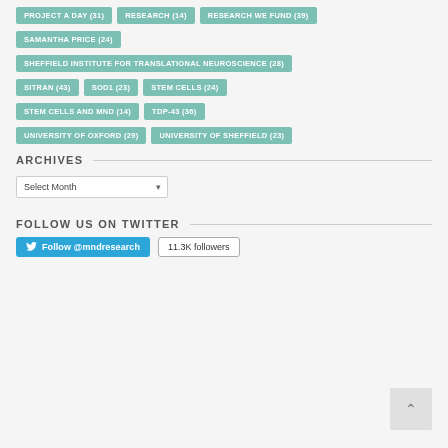PROJECT A DAY (31)
RESEARCH (14)
RESEARCH WE FUND (39)
SAMANTHA PRICE (24)
SHEFFIELD INSTITUTE FOR TRANSLATIONAL NEUROSCIENCE (28)
SITRAN (43)
SOD1 (23)
STEM CELLS (24)
STEM CELLS AND MND (14)
TDP-43 (36)
UNIVERSITY OF OXFORD (29)
UNIVERSITY OF SHEFFIELD (23)
ARCHIVES
Select Month
FOLLOW US ON TWITTER
Follow @mndresearch
11.3K followers